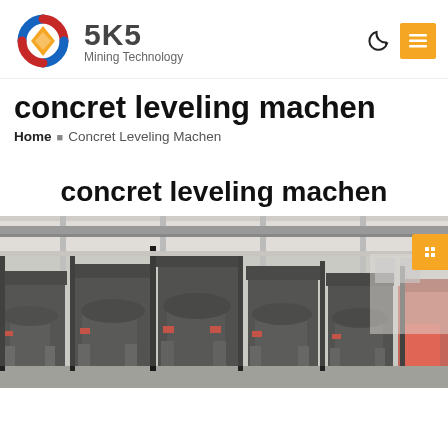SKS Mining Technology
concret leveling machen
Home › Concret Leveling Machen
concret leveling machen
[Figure (photo): Industrial machines (concret leveling machines) lined up in a factory/warehouse setting, large dark metal equipment with frames and cylinders, industrial background]